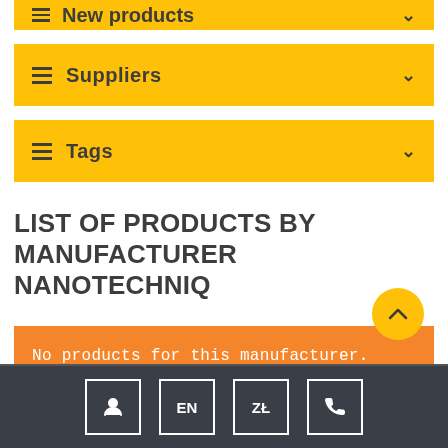New products
Suppliers
Tags
LIST OF PRODUCTS BY MANUFACTURER NANOTECHNIQ
No products for this manufacturer.
Person | EN | ZŁ | Phone